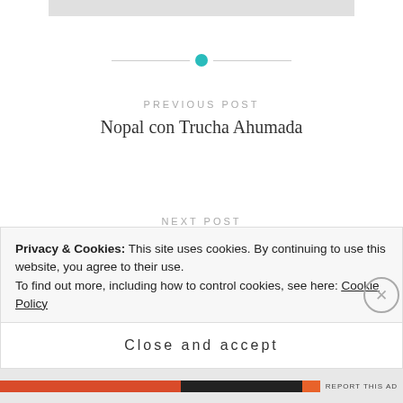[Figure (other): Decorative horizontal divider with teal/turquoise circle dot in the center and thin gray lines on each side]
PREVIOUS POST
Nopal con Trucha Ahumada
NEXT POST
Chiltepes fritos: fried chiles
Privacy & Cookies: This site uses cookies. By continuing to use this website, you agree to their use.
To find out more, including how to control cookies, see here: Cookie Policy
Close and accept